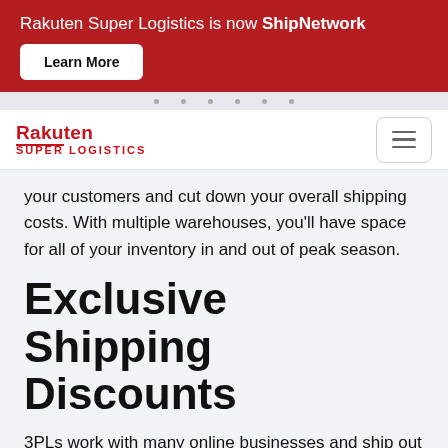Rakuten Super Logistics is now ShipNetwork
[Figure (logo): Rakuten Super Logistics logo with red text]
your customers and cut down your overall shipping costs. With multiple warehouses, you'll have space for all of your inventory in and out of peak season.
Exclusive Shipping Discounts
3PLs work with many online businesses and ship out thousands of orders daily. This allows them to have huge discounts with local and national